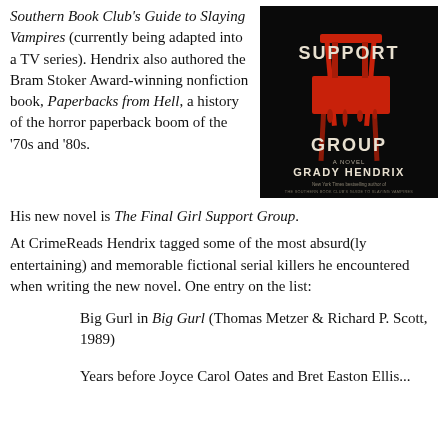Southern Book Club's Guide to Slaying Vampires (currently being adapted into a TV series). Hendrix also authored the Bram Stoker Award-winning nonfiction book, Paperbacks from Hell, a history of the horror paperback boom of the '70s and '80s.
[Figure (photo): Book cover of 'The Final Girl Support Group' by Grady Hendrix. Black background with a red school chair dripping with red paint/blood. Text reads 'SUPPORT GROUP A NOVEL GRADY HENDRIX New York Times bestselling author of THE SOUTHERN BOOK CLUB'S GUIDE TO SLAYING VAMPIRES']
His new novel is The Final Girl Support Group.
At CrimeReads Hendrix tagged some of the most absurd(ly entertaining) and memorable fictional serial killers he encountered when writing the new novel. One entry on the list:
Big Gurl in Big Gurl (Thomas Metzer & Richard P. Scott, 1989)
Years before Joyce Carol Oates and Bret Easton Ellis...